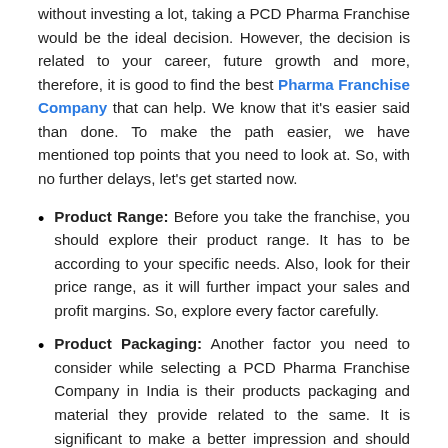without investing a lot, taking a PCD Pharma Franchise would be the ideal decision. However, the decision is related to your career, future growth and more, therefore, it is good to find the best Pharma Franchise Company that can help. We know that it's easier said than done. To make the path easier, we have mentioned top points that you need to look at. So, with no further delays, let's get started now.
Product Range: Before you take the franchise, you should explore their product range. It has to be according to your specific needs. Also, look for their price range, as it will further impact your sales and profit margins. So, explore every factor carefully.
Product Packaging: Another factor you need to consider while selecting a PCD Pharma Franchise Company in India is their products packaging and material they provide related to the same. It is significant to make a better impression and should attract the attention of